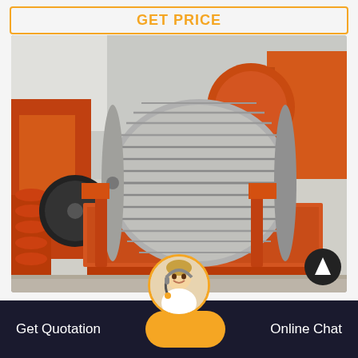GET PRICE
[Figure (photo): Industrial orange magnetic separator machine with a large cylindrical drum and ribbed surface, mounted on an orange steel frame, sitting in an outdoor factory yard surrounded by other orange heavy mining equipment.]
Get Quotation
Online Chat